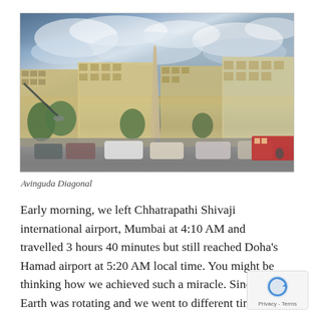[Figure (photo): Street-level panoramic photo of Avinguda Diagonal in Barcelona, showing a wide boulevard with an obelisk monument in the center, tall Haussmann-style buildings on both sides, trees, heavy traffic including cars and a red bus, under a dramatic cloudy sky.]
Avinguda Diagonal
Early morning, we left Chhatrapathi Shivaji international airport, Mumbai at 4:10 AM and travelled 3 hours 40 minutes but still reached Doha's Hamad airport at 5:20 AM local time. You might be thinking how we achieved such a miracle. Since Earth was rotating and we went to different time zone (Doha UTC +3 against India which is UTC +5:30).